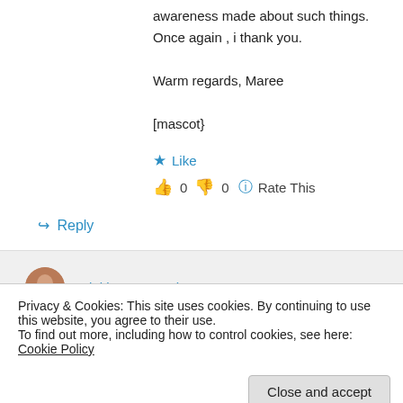awareness made about such things. Once again , i thank you.
Warm regards, Maree
[mascot}
★ Like
👍 0 👎 0 ℹ Rate This
↪ Reply
twinklev on March 1, 2011 at 10:19 am
Privacy & Cookies: This site uses cookies. By continuing to use this website, you agree to their use.
To find out more, including how to control cookies, see here: Cookie Policy
Close and accept